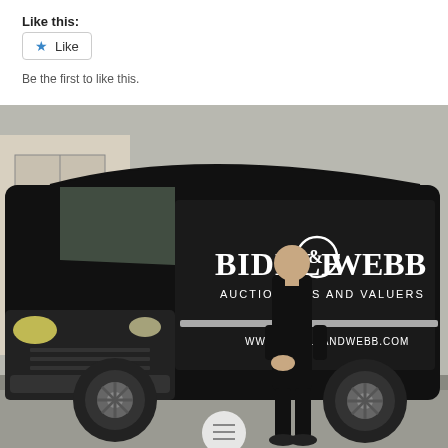Like this:
Like
Be the first to like this.
[Figure (photo): A man in black clothing standing in front of a large black van with 'BIDDLE & WEBB AUCTIONEERS AND VALUERS' and 'WWW.BIDDLEANDWEBB.COM' written on the side, parked outside a building.]